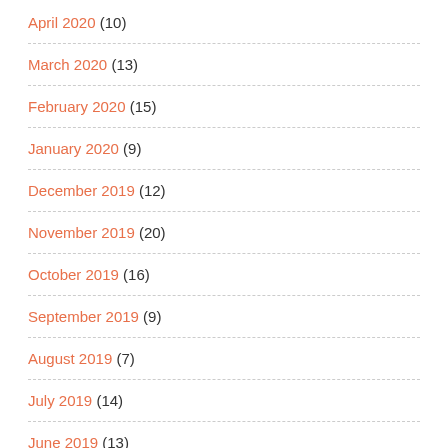April 2020 (10)
March 2020 (13)
February 2020 (15)
January 2020 (9)
December 2019 (12)
November 2019 (20)
October 2019 (16)
September 2019 (9)
August 2019 (7)
July 2019 (14)
June 2019 (13)